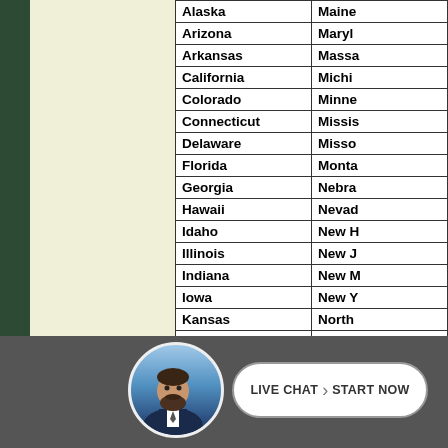| Alaska | Maine |
| Arizona | Maryland |
| Arkansas | Massachusetts |
| California | Michigan |
| Colorado | Minnesota |
| Connecticut | Mississippi |
| Delaware | Missouri |
| Florida | Montana |
| Georgia | Nebraska |
| Hawaii | Nevada |
| Idaho | New Hampshire |
| Illinois | New Jersey |
| Indiana | New Mexico |
| Iowa | New York |
| Kansas | North Carolina |
| Kentucky | North Dakota |
Call us toll free at ... contact form locat... and we will contac...
[Figure (other): Live chat footer bar with avatar photo of a man in a suit, and a button reading LIVE CHAT > START NOW]